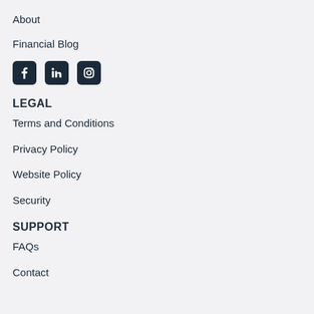About
Financial Blog
[Figure (illustration): Social media icons: Facebook, LinkedIn, Instagram in dark navy rounded square boxes]
LEGAL
Terms and Conditions
Privacy Policy
Website Policy
Security
SUPPORT
FAQs
Contact